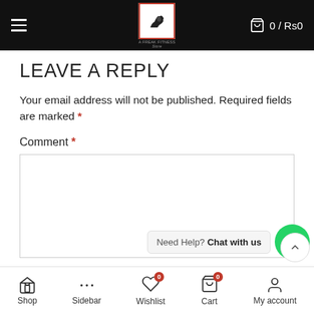Navigation header with hamburger menu, logo, and cart showing 0 / Rs0
LEAVE A REPLY
Your email address will not be published. Required fields are marked *
Comment *
[Figure (screenshot): Empty comment text area input box]
[Figure (infographic): WhatsApp chat widget with 'Need Help? Chat with us' bubble and green WhatsApp icon button]
Bottom navigation bar with Shop, Sidebar, Wishlist (0), Cart (0), My account